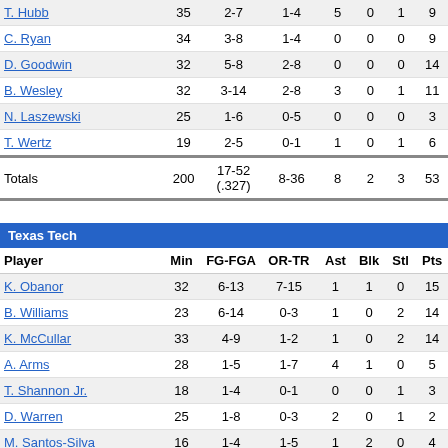| Player | Min | FG-FGA | OR-TR | Ast | Blk | Stl | Pts |
| --- | --- | --- | --- | --- | --- | --- | --- |
| T. Hubb | 35 | 2-7 | 1-4 | 5 | 0 | 1 | 9 |
| C. Ryan | 34 | 3-8 | 1-4 | 0 | 0 | 0 | 9 |
| D. Goodwin | 32 | 5-8 | 2-8 | 0 | 0 | 0 | 14 |
| B. Wesley | 32 | 3-14 | 2-8 | 3 | 0 | 1 | 11 |
| N. Laszewski | 25 | 1-6 | 0-5 | 0 | 0 | 0 | 3 |
| T. Wertz | 19 | 2-5 | 0-1 | 1 | 0 | 1 | 6 |
| Totals | 200 | 17-52 (.327) | 8-36 | 8 | 2 | 3 | 53 |
Texas Tech
| Player | Min | FG-FGA | OR-TR | Ast | Blk | Stl | Pts |
| --- | --- | --- | --- | --- | --- | --- | --- |
| K. Obanor | 32 | 6-13 | 7-15 | 1 | 1 | 0 | 15 |
| B. Williams | 23 | 6-14 | 0-3 | 1 | 0 | 2 | 14 |
| K. McCullar | 33 | 4-9 | 1-2 | 1 | 0 | 2 | 14 |
| A. Arms | 28 | 1-5 | 1-7 | 4 | 1 | 0 | 5 |
| T. Shannon Jr. | 18 | 1-4 | 0-1 | 0 | 0 | 1 | 3 |
| D. Warren | 25 | 1-8 | 0-3 | 2 | 0 | 1 | 2 |
| M. Santos-Silva | 16 | 1-4 | 1-5 | 1 | 2 | 0 | 4 |